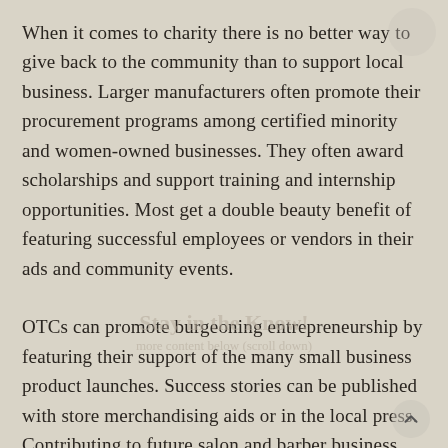When it comes to charity there is no better way to give back to the community than to support local business. Larger manufacturers often promote their procurement programs among certified minority and women-owned businesses. They often award scholarships and support training and internship opportunities. Most get a double beauty benefit of featuring successful employees or vendors in their ads and community events.
OTCs can promote burgeoning entrepreneurship by featuring their support of the many small business product launches. Success stories can be published with store merchandising aids or in the local press. Contributing to future salon and barber business,